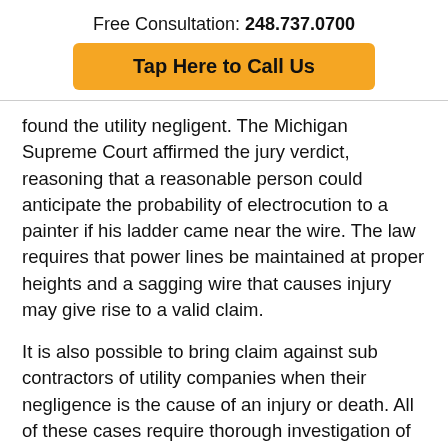Free Consultation: 248.737.0700
Tap Here to Call Us
found the utility negligent. The Michigan Supreme Court affirmed the jury verdict, reasoning that a reasonable person could anticipate the probability of electrocution to a painter if his ladder came near the wire. The law requires that power lines be maintained at proper heights and a sagging wire that causes injury may give rise to a valid claim.
It is also possible to bring claim against sub contractors of utility companies when their negligence is the cause of an injury or death. All of these cases require thorough investigation of the underlying facts